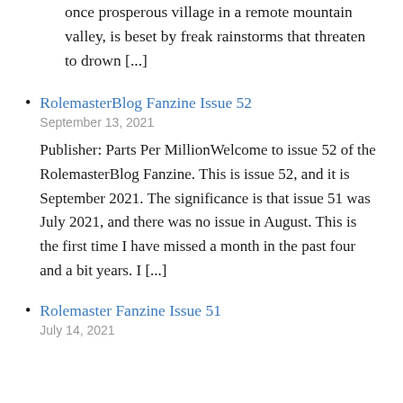once prosperous village in a remote mountain valley, is beset by freak rainstorms that threaten to drown [...]
RolemasterBlog Fanzine Issue 52
September 13, 2021
Publisher: Parts Per MillionWelcome to issue 52 of the RolemasterBlog Fanzine. This is issue 52, and it is September 2021. The significance is that issue 51 was July 2021, and there was no issue in August. This is the first time I have missed a month in the past four and a bit years. I [...]
Rolemaster Fanzine Issue 51
July 14, 2021